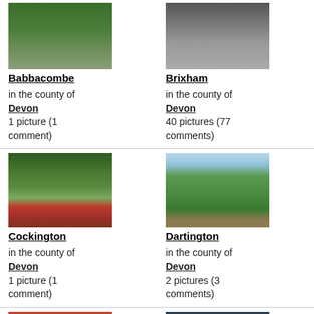[Figure (photo): Railway funicular track going uphill through green trees - Babbacombe]
Babbacombe
in the county of Devon
1 picture (1 comment)
[Figure (photo): Stone wall and dirt road path - Brixham]
Brixham
in the county of Devon
40 pictures (77 comments)
[Figure (photo): Garden with red wooden fence/gate, hedges and trees - Cockington]
Cockington
in the county of Devon
1 picture (1 comment)
[Figure (photo): Open green parkland with trees in background - Dartington]
Dartington
in the county of Devon
2 pictures (3 comments)
[Figure (photo): Yellow and red flower close-up]
[Figure (photo): Dark water surface with tree reflections]